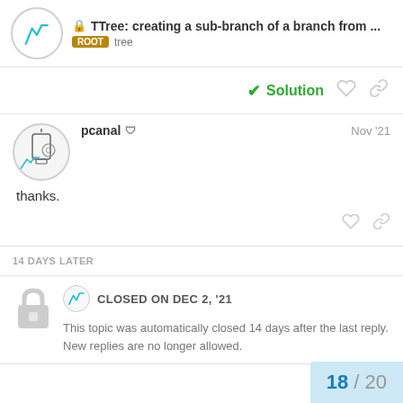TTree: creating a sub-branch of a branch from ... | ROOT tree
Solution
pcanal | Nov '21
thanks.
14 DAYS LATER
CLOSED ON DEC 2, '21
This topic was automatically closed 14 days after the last reply. New replies are no longer allowed.
18 / 20